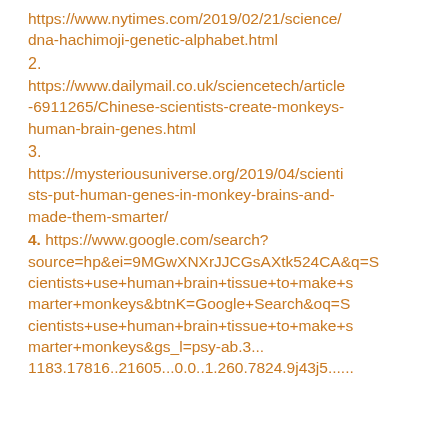https://www.nytimes.com/2019/02/21/science/dna-hachimoji-genetic-alphabet.html
2.
https://www.dailymail.co.uk/sciencetech/article-6911265/Chinese-scientists-create-monkeys-human-brain-genes.html
3.
https://mysteriousuniverse.org/2019/04/scientists-put-human-genes-in-monkey-brains-and-made-them-smarter/
4. https://www.google.com/search?source=hp&ei=9MGwXNXrJJCGsAXtk524CA&q=Scientists+use+human+brain+tissue+to+make+smarter+monkeys&btnK=Google+Search&oq=Scientists+use+human+brain+tissue+to+make+smarter+monkeys&gs_l=psy-ab.3...1183.17816..21605...0.0..1.260.7824.9j43j5......